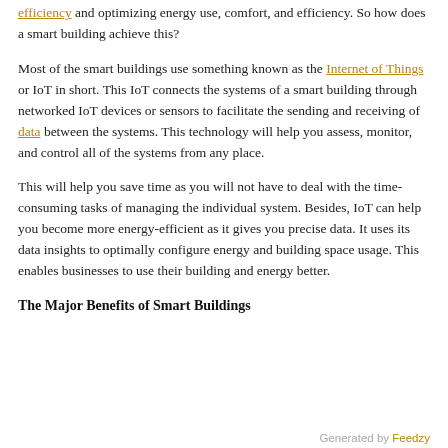efficiency. So how does a smart building achieve this?
Most of the smart buildings use something known as the Internet of Things or IoT in short. This IoT connects the systems of a smart building through networked IoT devices or sensors to facilitate the sending and receiving of data between the systems. This technology will help you assess, monitor, and control all of the systems from any place.
This will help you save time as you will not have to deal with the time-consuming tasks of managing the individual system. Besides, IoT can help you become more energy-efficient as it gives you precise data. It uses its data insights to optimally configure energy and building space usage. This enables businesses to use their building and energy better.
The Major Benefits of Smart Buildings
Generated by Feedzy